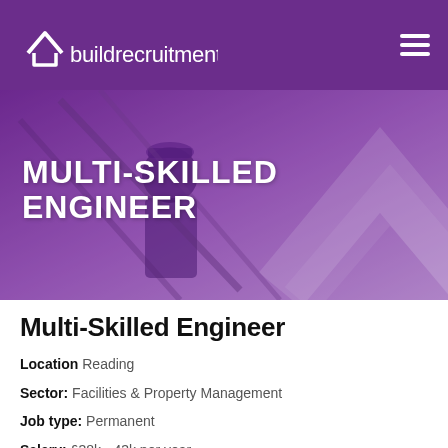[Figure (logo): Build Recruitment logo — white house/chevron icon above text 'buildrecruitment' in white on purple background]
[Figure (photo): Hero banner: person wearing hard hat seen from behind with scaffolding poles, overlaid with purple tint and large chevron/house watermark shape. Text overlay: MULTI-SKILLED ENGINEER in white bold uppercase.]
Multi-Skilled Engineer
Location Reading
Sector: Facilities & Property Management
Job type: Permanent
Salary: £38k - 43k per year